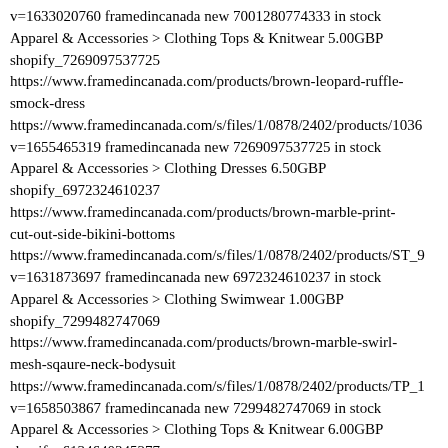v=1633020760 framedincanada new 7001280774333 in stock Apparel & Accessories > Clothing Tops & Knitwear 5.00GBP shopify_7269097537725 https://www.framedincanada.com/products/brown-leopard-ruffle-smock-dress https://www.framedincanada.com/s/files/1/0878/2402/products/1036 v=1655465319 framedincanada new 7269097537725 in stock Apparel & Accessories > Clothing Dresses 6.50GBP shopify_6972324610237 https://www.framedincanada.com/products/brown-marble-print-cut-out-side-bikini-bottoms https://www.framedincanada.com/s/files/1/0878/2402/products/ST_9 v=1631873697 framedincanada new 6972324610237 in stock Apparel & Accessories > Clothing Swimwear 1.00GBP shopify_7299482747069 https://www.framedincanada.com/products/brown-marble-swirl-mesh-sqaure-neck-bodysuit https://www.framedincanada.com/s/files/1/0878/2402/products/TP_1 v=1658503867 framedincanada new 7299482747069 in stock Apparel & Accessories > Clothing Tops & Knitwear 6.00GBP shopify_6134640345277 https://www.framedincanada.com/products/brown-mesh-leopard-hi-leg-bodysuit https://www.framedincanada.com/s/files/1/0878/2402/products/Untit 7e8c-4f12-acff-29cc291b95f0_grande.png?v=1608978997